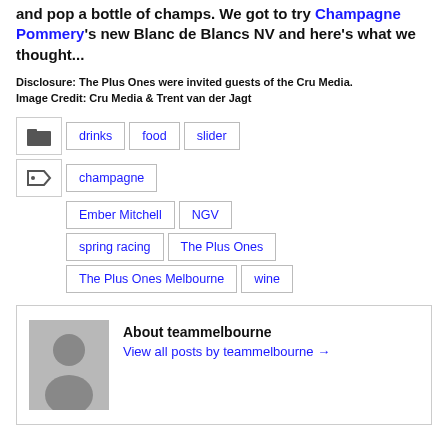and pop a bottle of champs. We got to try Champagne Pommery's new Blanc de Blancs NV and here's what we thought...
Disclosure: The Plus Ones were invited guests of the Cru Media.
Image Credit: Cru Media & Trent van der Jagt
drinks
food
slider
champagne
Ember Mitchell
NGV
spring racing
The Plus Ones
The Plus Ones Melbourne
wine
About teammelbourne
View all posts by teammelbourne →